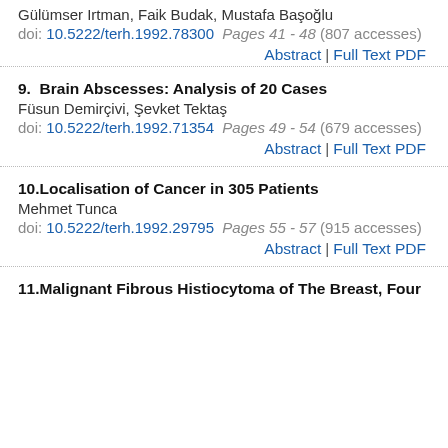Gülümser Irtman, Faik Budak, Mustafa Başoğlu
doi: 10.5222/terh.1992.78300  Pages 41 - 48 (807 accesses)
Abstract | Full Text PDF
9.  Brain Abscesses: Analysis of 20 Cases
Füsun Demirçivi, Şevket Tektaş
doi: 10.5222/terh.1992.71354  Pages 49 - 54 (679 accesses)
Abstract | Full Text PDF
10. Localisation of Cancer in 305 Patients
Mehmet Tunca
doi: 10.5222/terh.1992.29795  Pages 55 - 57 (915 accesses)
Abstract | Full Text PDF
11. Malignant Fibrous Histiocytoma of The Breast, Four